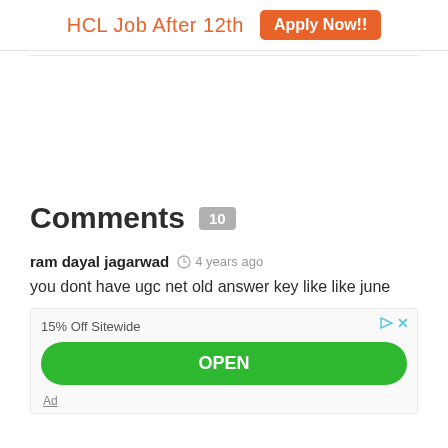HCL Job After 12th  Apply Now!!
Comments 10
ram dayal jagarwad  4 years ago
you dont have ugc net old answer key like like june
15% Off Sitewide
OPEN
Ad